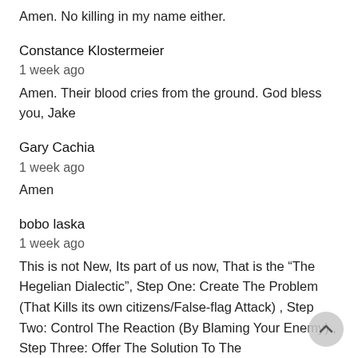Amen. No killing in my name either.
Constance Klostermeier
1 week ago
Amen. Their blood cries from the ground. God bless you, Jake
Gary Cachia
1 week ago
Amen
bobo laska
1 week ago
This is not New, Its part of us now, That is the “The Hegelian Dialectic”, Step One: Create The Problem (That Kills its own citizens/False-flag Attack) , Step Two: Control The Reaction (By Blaming Your Enemy) , Step Three: Offer The Solution To The